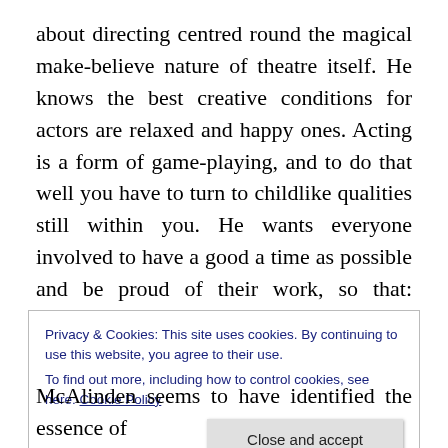about directing centred round the magical make-believe nature of theatre itself. He knows the best creative conditions for actors are relaxed and happy ones. Acting is a form of game-playing, and to do that well you have to turn to childlike qualities still within you. He wants everyone involved to have a good a time as possible and be proud of their work, so that: “Everybody walks away smiling”.
This is why his company, formed 3 years ago, is called “Charm Offensive”. The name aptly describes his
Privacy & Cookies: This site uses cookies. By continuing to use this website, you agree to their use.
To find out more, including how to control cookies, see here: Cookie Policy
[Close and accept]
McAlinden seems to have identified the essence of